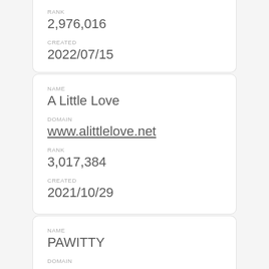RANK
2,976,016
CREATED
2022/07/15
NAME
A Little Love
DOMAIN
www.alittlelove.net
RANK
3,017,384
CREATED
2021/10/29
NAME
PAWITTY
DOMAIN